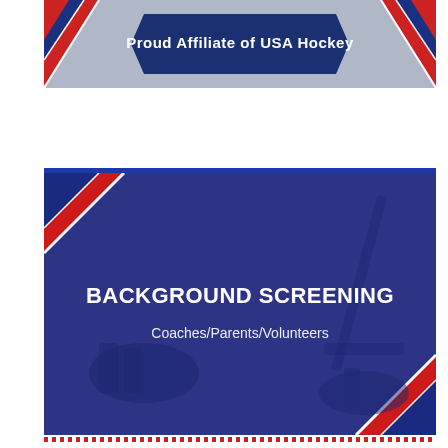[Figure (illustration): Top banner showing 'Proud Affiliate of USA Hockey' ribbon/banner with red and blue diagonal stripes on left and right sides, over a grey/muted background]
[Figure (illustration): Dark navy blue card/slide with hockey skate silhouettes in the background, red and white diagonal stripe accents in corners, containing bold white text 'BACKGROUND SCREENING' and subtitle 'Coaches/Parents/Volunteers']